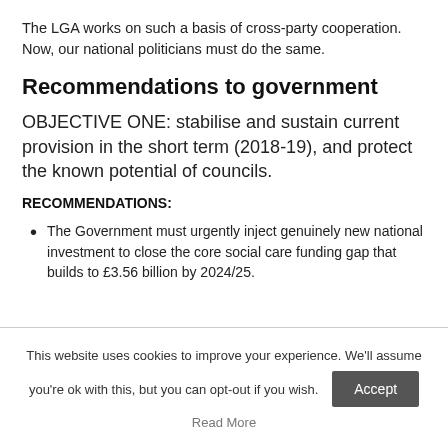The LGA works on such a basis of cross-party cooperation. Now, our national politicians must do the same.
Recommendations to government
OBJECTIVE ONE: stabilise and sustain current provision in the short term (2018-19), and protect the known potential of councils.
RECOMMENDATIONS:
The Government must urgently inject genuinely new national investment to close the core social care funding gap that builds to £3.56 billion by 2024/25.
This website uses cookies to improve your experience. We'll assume you're ok with this, but you can opt-out if you wish.
Accept
Read More